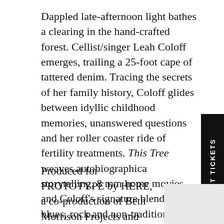Dappled late-afternoon light bathes a clearing in the hand-crafted forest. Cellist/singer Leah Coloff emerges, trailing a 25-foot cape of tattered denim. Tracing the secrets of her family history, Coloff glides between idyllic childhood memories, unanswered questions and her roller coaster ride of fertility treatments. This Tree weaves autobiographical storytelling, 8 mm home movies, and Coloff's signature blend of blues, rock and non-traditional cello playing, supported by an all-female band, to investigate the vantage point of being the last branch on the family tree.
GET TICKETS
Produced for PROTOTYPE by HERE, a co-production of Beth Morrison Projects and